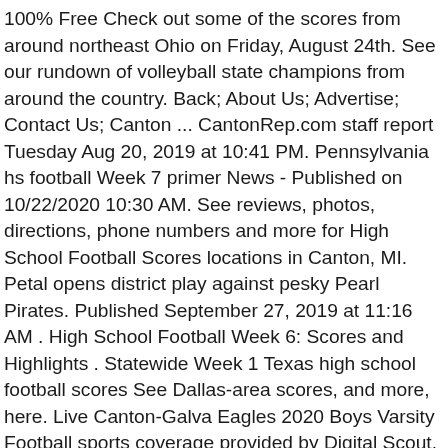100% Free Check out some of the scores from around northeast Ohio on Friday, August 24th. See our rundown of volleyball state champions from around the country. Back; About Us; Advertise; Contact Us; Canton ... CantonRep.com staff report Tuesday Aug 20, 2019 at 10:41 PM. Pennsylvania hs football Week 7 primer News - Published on 10/22/2020 10:30 AM. See reviews, photos, directions, phone numbers and more for High School Football Scores locations in Canton, MI. Petal opens district play against pesky Pearl Pirates. Published September 27, 2019 at 11:16 AM . High School Football Week 6: Scores and Highlights . Statewide Week 1 Texas high school football scores See Dallas-area scores, and more, here. Live Canton-Galva Eagles 2020 Boys Varsity Football sports coverage provided by Digital Scout. Box Score Stats by Game Stats by Player, The Canton varsity football team lost Thursday's away conference game against Neshoba Central (Philadelphia, MS) by a score